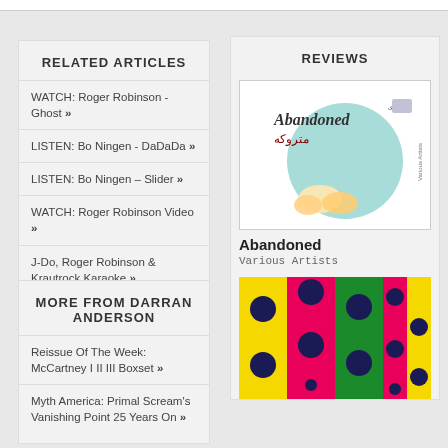RELATED ARTICLES
WATCH: Roger Robinson - Ghost »
LISTEN: Bo Ningen - DaDaDa »
LISTEN: Bo Ningen – Slider »
WATCH: Roger Robinson Video »
J-Do, Roger Robinson & Krautrock Karaoke »
MORE FROM DARRAN ANDERSON
Reissue Of The Week: McCartney I II III Boxset »
Myth America: Primal Scream's Vanishing Point 25 Years On »
REVIEWS
[Figure (photo): Album artwork for 'Abandoned' by Various Artists — shows text 'Abandoned / متروکه' with illustrated images on a light teal background]
Abandoned
Various Artists
[Figure (photo): Colorful polka-dot fabric rolls in yellow, pink, green colors with dark navy polka dots]